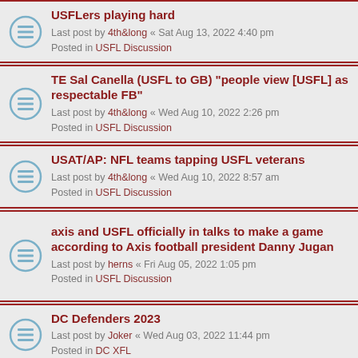USFLers playing hard
Last post by 4th&long « Sat Aug 13, 2022 4:40 pm
Posted in USFL Discussion
TE Sal Canella (USFL to GB) "people view [USFL] as respectable FB"
Last post by 4th&long « Wed Aug 10, 2022 2:26 pm
Posted in USFL Discussion
USAT/AP: NFL teams tapping USFL veterans
Last post by 4th&long « Wed Aug 10, 2022 8:57 am
Posted in USFL Discussion
axis and USFL officially in talks to make a game according to Axis football president Danny Jugan
Last post by herns « Fri Aug 05, 2022 1:05 pm
Posted in USFL Discussion
DC Defenders 2023
Last post by Joker « Wed Aug 03, 2022 11:44 pm
Posted in DC XFL
Houston team name
Last post by Joker « Wed Aug 03, 2022 11:42 pm
Posted in Houston XFL